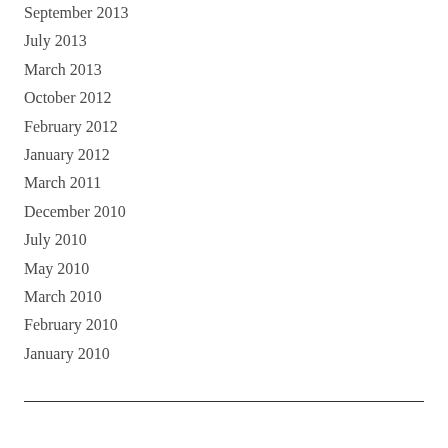September 2013
July 2013
March 2013
October 2012
February 2012
January 2012
March 2011
December 2010
July 2010
May 2010
March 2010
February 2010
January 2010